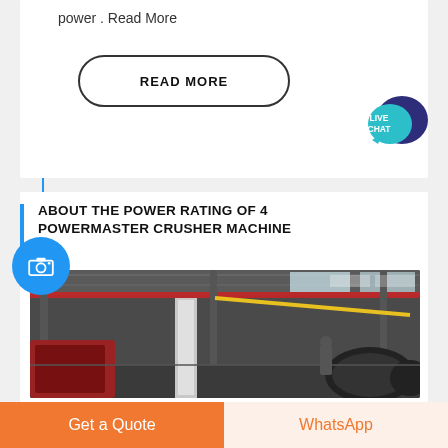power . Read More
READ MORE
[Figure (other): Live Chat speech bubble icon in teal and dark blue]
[Figure (other): Blue circle with camera icon]
ABOUT THE POWER RATING OF 4 POWERMASTER CRUSHER MACHINE
[Figure (photo): Industrial factory interior with machinery, overhead crane, and heavy equipment on the floor]
Get a Quote
WhatsApp